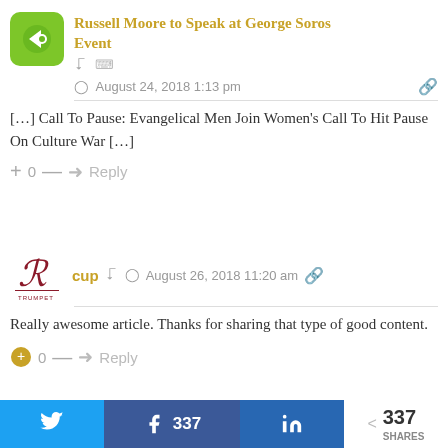Russell Moore to Speak at George Soros Event
August 24, 2018 1:13 pm
[…] Call To Pause: Evangelical Men Join Women's Call To Hit Pause On Culture War […]
+ 0 — Reply
cup   August 26, 2018 11:20 am
Really awesome article. Thanks for sharing that type of good content.
+ 0 — Reply
337 SHARES